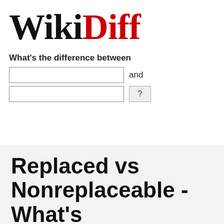[Figure (logo): WikiDiff logo with 'Wiki' in black bold serif font and 'Diff' in red bold serif font]
What's the difference between
[Figure (other): Search form with two text input fields, 'and' label between them, and a '?' submit button]
Replaced vs Nonreplaceable - What's